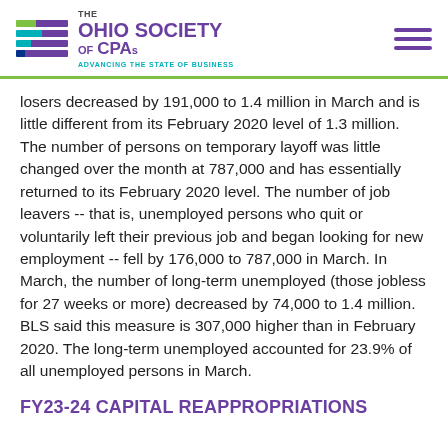THE OHIO SOCIETY OF CPAs — ADVANCING THE STATE OF BUSINESS
losers decreased by 191,000 to 1.4 million in March and is little different from its February 2020 level of 1.3 million. The number of persons on temporary layoff was little changed over the month at 787,000 and has essentially returned to its February 2020 level. The number of job leavers -- that is, unemployed persons who quit or voluntarily left their previous job and began looking for new employment -- fell by 176,000 to 787,000 in March. In March, the number of long-term unemployed (those jobless for 27 weeks or more) decreased by 74,000 to 1.4 million. BLS said this measure is 307,000 higher than in February 2020. The long-term unemployed accounted for 23.9% of all unemployed persons in March.
FY23-24 CAPITAL REAPPROPRIATIONS